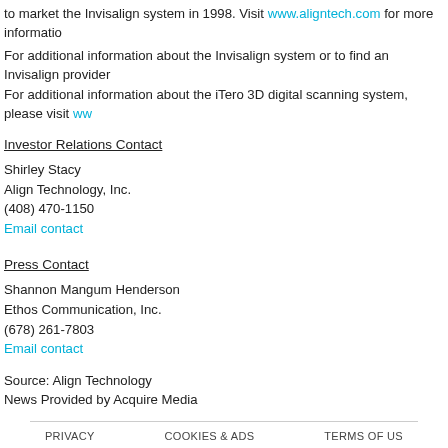to market the Invisalign system in 1998. Visit www.aligntech.com for more information.
For additional information about the Invisalign system or to find an Invisalign provider. For additional information about the iTero 3D digital scanning system, please visit ww...
Investor Relations Contact
Shirley Stacy
Align Technology, Inc.
(408) 470-1150
Email contact
Press Contact
Shannon Mangum Henderson
Ethos Communication, Inc.
(678) 261-7803
Email contact
Source: Align Technology
News Provided by Acquire Media
PRIVACY   COOKIES & ADS   TERMS OF US